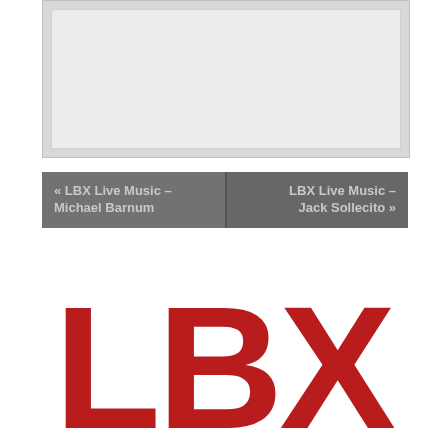[Figure (other): Gray placeholder image box with inner lighter gray rectangle]
« LBX Live Music – Michael Barnum
LBX Live Music – Jack Sollecito »
[Figure (logo): LBX logo in large bold red letters]